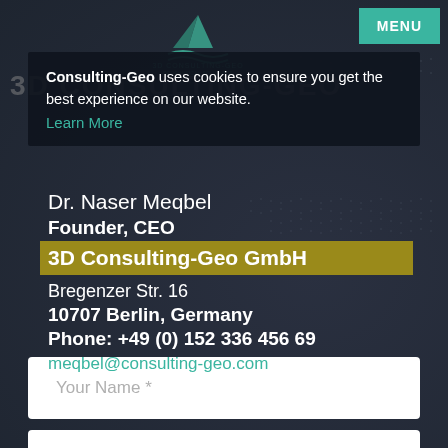[Figure (logo): 3D Consulting-Geo GmbH logo with mountain/wave icon and text]
MENU
Consulting-Geo uses cookies to ensure you get the best experience on our website. Learn More
Dr. Naser Meqbel
Founder, CEO
3D Consulting-Geo GmbH
Bregenzer Str. 16
10707 Berlin, Germany
Phone: +49 (0) 152 336 456 69
meqbel@consulting-geo.com
Your Name *
Your Email *